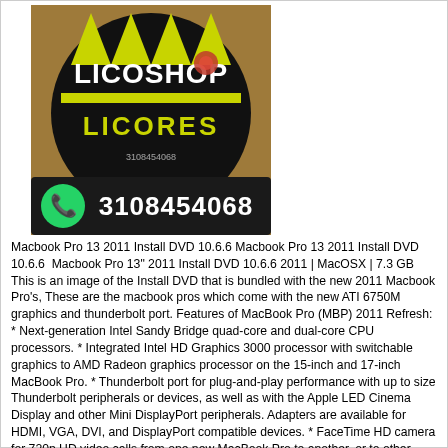[Figure (logo): Licoshop Licores logo on a circular black background with yellow text, showing a liquor bottle, and a WhatsApp contact number 3108454068 at the bottom of the image on a dark banner.]
Macbook Pro 13 2011 Install DVD 10.6.6 Macbook Pro 13 2011 Install DVD 10.6.6  Macbook Pro 13" 2011 Install DVD 10.6.6 2011 | MacOSX | 7.3 GB This is an image of the Install DVD that is bundled with the new 2011 Macbook Pro's, These are the macbook pros which come with the new ATI 6750M graphics and thunderbolt port. Features of MacBook Pro (MBP) 2011 Refresh: * Next-generation Intel Sandy Bridge quad-core and dual-core CPU processors. * Integrated Intel HD Graphics 3000 processor with switchable graphics to AMD Radeon graphics processor on the 15-inch and 17-inch MacBook Pro. * Thunderbolt port for plug-and-play performance with up to size Thunderbolt peripherals or devices, as well as with the Apple LED Cinema Display and other Mini DisplayPort peripherals. Adapters are available for HDMI, VGA, DVI, and DisplayPort compatible devices. * FaceTime HD camera for 720p HD video calls from one new MacBook Pro to another, or to other Intel-based Mac computers,4 iPhone 4, or the new iPod touch. * Multi-Touch trackpad. * Longer lasting battery. * 802.11n wireless and Bluetooth support. * 8x SuperDrive DVD writer. * New SDXC card slot on the 13-